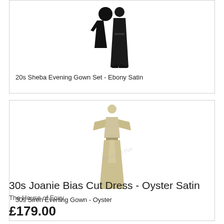[Figure (photo): Black satin evening gown set with kimono-style jacket, shown on white background]
20s Sheba Evening Gown Set - Ebony Satin
[Figure (photo): Oyster/champagne colored siren evening gown with batwing sleeves and belted waist, shown on white background]
30s Siren Evening Gown - Oyster
30s Joanie Bias Cut Dress - Oyster Satin
The House of Foxy
£179.00